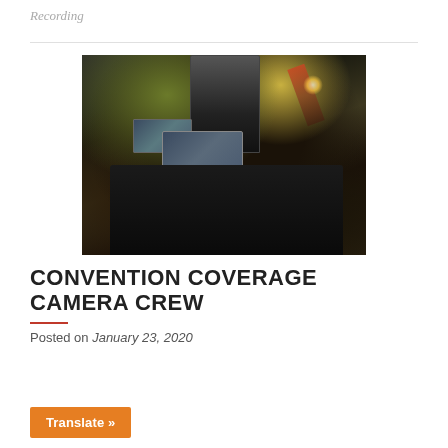Recording
[Figure (photo): Close-up photo of professional video camera equipment at a convention or trade show, showing camera body, lens, monitor screens displaying a person's face, with busy event floor in background]
CONVENTION COVERAGE CAMERA CREW
Posted on January 23, 2020
Translate »